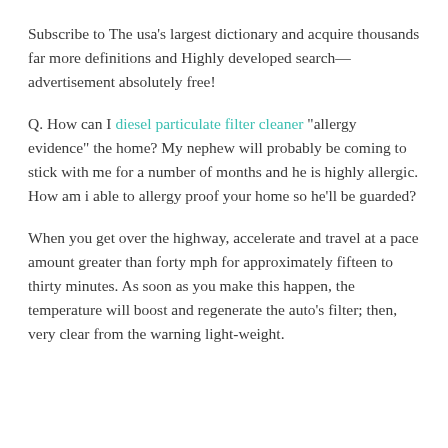Subscribe to The usa's largest dictionary and acquire thousands far more definitions and Highly developed search—advertisement absolutely free!
Q. How can I diesel particulate filter cleaner "allergy evidence" the home? My nephew will probably be coming to stick with me for a number of months and he is highly allergic. How am i able to allergy proof your home so he'll be guarded?
When you get over the highway, accelerate and travel at a pace amount greater than forty mph for approximately fifteen to thirty minutes. As soon as you make this happen, the temperature will boost and regenerate the auto's filter; then, very clear from the warning light-weight.